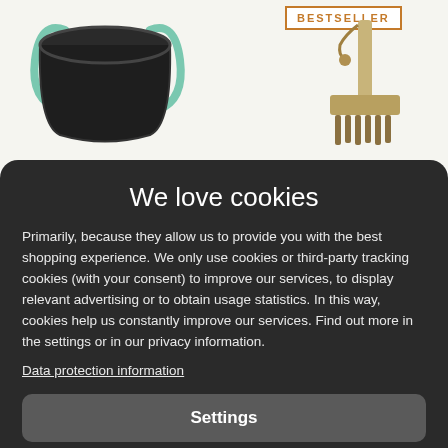[Figure (illustration): Product images visible behind cookie consent modal: a dark bucket/pot on the left and a tool/brush on the right with a BESTSELLER badge]
We love cookies
Primarily, because they allow us to provide you with the best shopping experience. We only use cookies or third-party tracking cookies (with your consent) to improve our services, to display relevant advertising or to obtain usage statistics. In this way, cookies help us constantly improve our services. Find out more in the settings or in our privacy information.
Data protection information
Settings
Reject all
Accept all